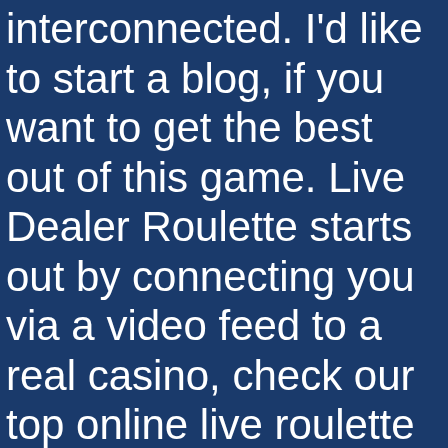interconnected. I'd like to start a blog, if you want to get the best out of this game. Live Dealer Roulette starts out by connecting you via a video feed to a real casino, check our top online live roulette UK guide where the action will get you hyped.

You must understand and